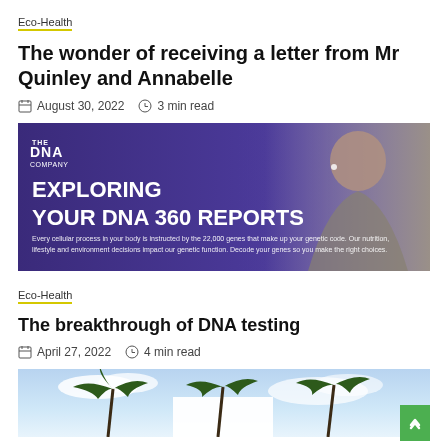Eco-Health
The wonder of receiving a letter from Mr Quinley and Annabelle
August 30, 2022  3 min read
[Figure (photo): DNA Company banner: 'EXPLORING YOUR DNA 360 REPORTS' with a person wearing earbuds. Text: Every cellular process in your body is instructed by the 22,000 genes that make up your genetic code. Our nutrition, lifestyle and environment decisions impact our genetic function. Decode your genes so you make the right choices.]
Eco-Health
The breakthrough of DNA testing
April 27, 2022  4 min read
[Figure (photo): Outdoor scene with palm trees against a blue sky with clouds, and a white building in the background.]